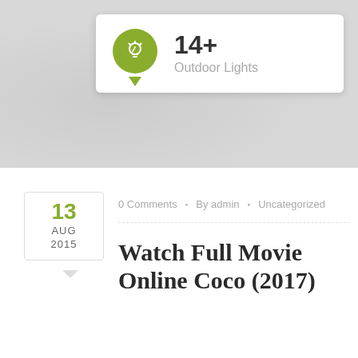[Figure (infographic): A tooltip-style card with a green circular icon containing a lightbulb, showing '14+' in bold and 'Outdoor Lights' in gray text, on a light gray textured background.]
0 Comments · By admin · Uncategorized
Watch Full Movie Online Coco (2017)